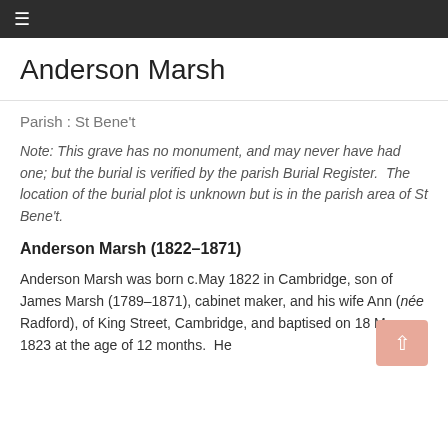≡
Anderson Marsh
Parish : St Bene't
Note: This grave has no monument, and may never have had one; but the burial is verified by the parish Burial Register.  The location of the burial plot is unknown but is in the parish area of St Bene't.
Anderson Marsh (1822–1871)
Anderson Marsh was born c.May 1822 in Cambridge, son of James Marsh (1789–1871), cabinet maker, and his wife Ann (née Radford), of King Street, Cambridge, and baptised on 18 May 1823 at the age of 12 months.  He